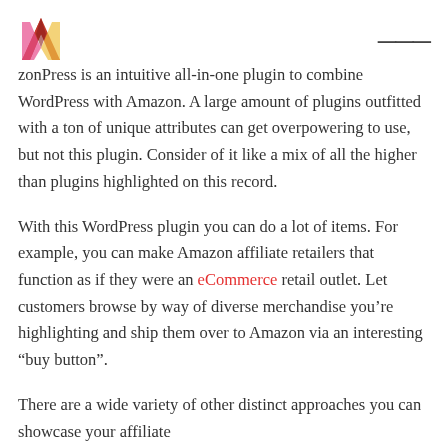AzonPress is an intuitive all-in-one plugin to combine WordPress with Amazon. A large amount of plugins outfitted with a ton of unique attributes can get overpowering to use, but not this plugin. Consider of it like a mix of all the higher than plugins highlighted on this record.
With this WordPress plugin you can do a lot of items. For example, you can make Amazon affiliate retailers that function as if they were an eCommerce retail outlet. Let customers browse by way of diverse merchandise you’re highlighting and ship them over to Amazon via an interesting “buy button”.
There are a wide variety of other distinct approaches you can showcase your affiliate